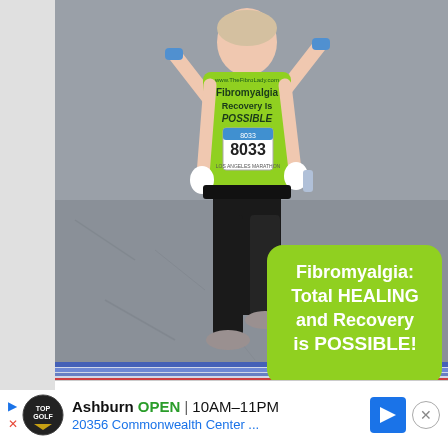[Figure (photo): A woman running in a race wearing a bright green (lime) t-shirt that reads 'Fibromyalgia Recovery Is POSSIBLE' and a race bib number 8033. She has her arms raised and is crossing what appears to be a finish line. A green rounded-rectangle overlay in the lower right of the image reads 'Fibromyalgia: Total HEALING and Recovery is POSSIBLE!' in white bold text. At the bottom of the image is a timing mat with blue and red stripes.]
Fibromyalgia: Total HEALING and Recovery is POSSIBLE!
[Figure (infographic): Advertisement banner for TopGolf in Ashburn. Shows TopGolf logo, text 'Ashburn OPEN 10AM-11PM 20356 Commonwealth Center ...' with a blue navigation arrow icon and a close (X) button.]